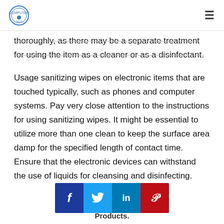[Logo] [Hamburger menu]
thoroughly, as there may be a separate treatment for using the item as a cleaner or as a disinfectant.
Usage sanitizing wipes on electronic items that are touched typically, such as phones and computer systems. Pay very close attention to the instructions for using sanitizing wipes. It might be essential to utilize more than one clean to keep the surface area damp for the specified length of contact time. Ensure that the electronic devices can withstand the use of liquids for cleansing and disinfecting.
[Figure (other): Social sharing buttons row: Facebook (dark blue, f icon), Twitter (light blue, bird icon), LinkedIn (teal/blue, in), Pinterest (red, P icon). Below: 'Products.' label text.]